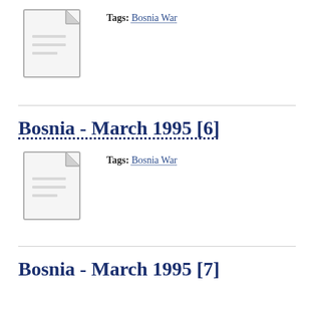[Figure (illustration): Document/file placeholder icon, grey outline of a page with folded top-right corner]
Tags: Bosnia War
Bosnia - March 1995 [6]
[Figure (illustration): Document/file placeholder icon, grey outline of a page with folded top-right corner]
Tags: Bosnia War
Bosnia - March 1995 [7]